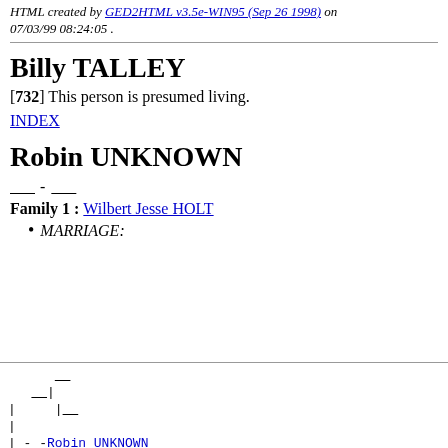HTML created by GED2HTML v3.5e-WIN95 (Sep 26 1998) on 07/03/99 08:24:05 .
Billy TALLEY
[732] This person is presumed living.
INDEX
Robin UNKNOWN
____ - ____
Family 1 : Wilbert Jesse HOLT
MARRIAGE:
| --Robin UNKNOWN
|